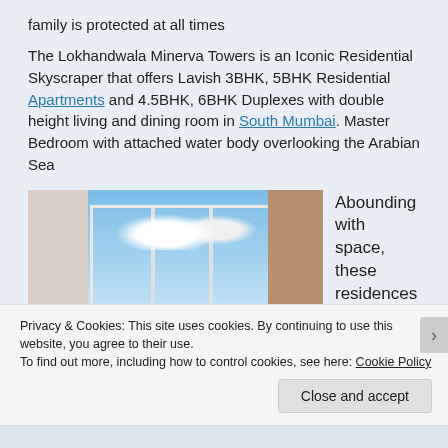family is protected at all times
The Lokhandwala Minerva Towers is an Iconic Residential Skyscraper that offers Lavish 3BHK, 5BHK Residential Apartments and 4.5BHK, 6BHK Duplexes with double height living and dining room in South Mumbai. Master Bedroom with attached water body overlooking the Arabian Sea
[Figure (photo): Interior room photo showing large floor-to-ceiling windows with a view of sky and clouds, white walls on left, brown stone/wood wall on right]
Abounding with space, these residences
Privacy & Cookies: This site uses cookies. By continuing to use this website, you agree to their use.
To find out more, including how to control cookies, see here: Cookie Policy
Close and accept